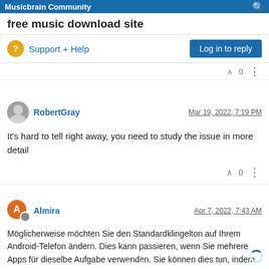Musicbrain Community
free music download site
Support + Help
Log in to reply
RobertGray  Mar 19, 2022, 7:19 PM
It's hard to tell right away, you need to study the issue in more detail
Almira  Apr 7, 2022, 7:43 AM
Möglicherweise möchten Sie den Standardklingelton auf Ihrem Android-Telefon ändern. Dies kann passieren, wenn Sie mehrere Apps für dieselbe Aufgabe verwenden. Sie können dies tun, indem Sie die Option namens Immer dieselbe App für jede Aktion verwenden aktivieren. Diese Option ändert den klingeltöne